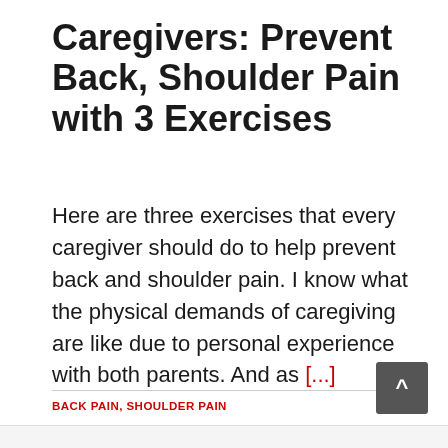Caregivers: Prevent Back, Shoulder Pain with 3 Exercises
Here are three exercises that every caregiver should do to help prevent back and shoulder pain. I know what the physical demands of caregiving are like due to personal experience with both parents. And as [...]
BACK PAIN, SHOULDER PAIN